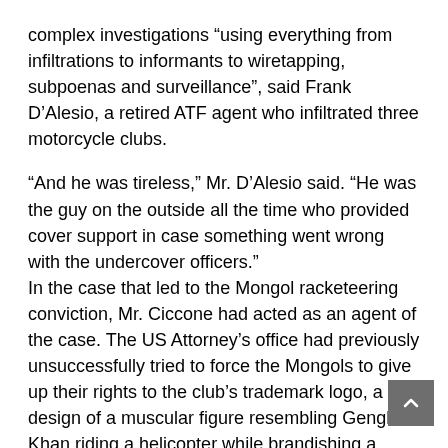complex investigations “using everything from infiltrations to informants to wiretapping, subpoenas and surveillance”, said Frank D’Alesio, a retired ATF agent who infiltrated three motorcycle clubs.
“And he was tireless,” Mr. D’Alesio said. “He was the guy on the outside all the time who provided cover support in case something went wrong with the undercover officers.” In the case that led to the Mongol racketeering conviction, Mr. Ciccone had acted as an agent of the case. The US Attorney’s office had previously unsuccessfully tried to force the Mongols to give up their rights to the club’s trademark logo, a design of a muscular figure resembling Genghis Khan riding a helicopter while brandishing a sword, a landmark case which prosecutors say would help weaken the club by undermining its visual identity. A jury sided with the prosecution in 2019 and ordered the group to relinquish the emblem, but Judge David O. Carter dismissed the verdict as a violation of the club’s constitutional rights.